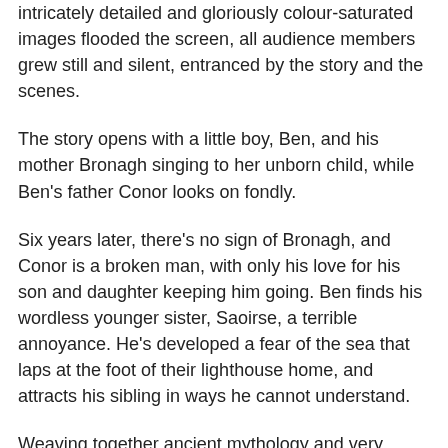intricately detailed and gloriously colour-saturated images flooded the screen, all audience members grew still and silent, entranced by the story and the scenes.
The story opens with a little boy, Ben, and his mother Bronagh singing to her unborn child, while Ben's father Conor looks on fondly.
Six years later, there's no sign of Bronagh, and Conor is a broken man, with only his love for his son and daughter keeping him going. Ben finds his wordless younger sister, Saoirse, a terrible annoyance. He's developed a fear of the sea that laps at the foot of their lighthouse home, and attracts his sibling in ways he cannot understand.
Weaving together ancient mythology and very relatable issues of grief, jealousy and sibling rivalry, the tale introduces peril and intrigue, partly in the form of an owl witch (a bit scary for little ones), several adventures in caves and a stormy night in a small boat at sea.